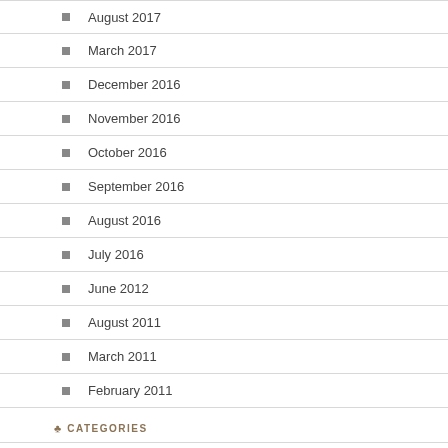August 2017
March 2017
December 2016
November 2016
October 2016
September 2016
August 2016
July 2016
June 2012
August 2011
March 2011
February 2011
CATEGORIES
arts
local event